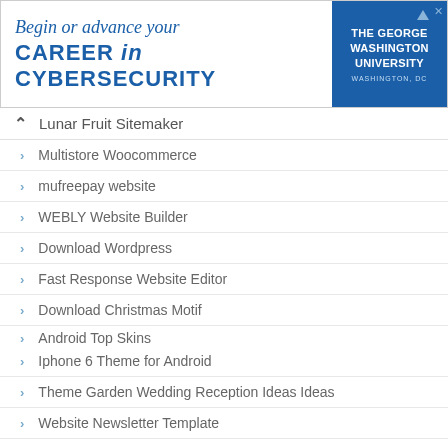[Figure (screenshot): Advertisement banner for The George Washington University cybersecurity program. Text reads 'Begin or advance your CAREER in CYBERSECURITY' with the GWU logo on the right.]
Lunar Fruit Sitemaker
Multistore Woocommerce
mufreepay website
WEBLY Website Builder
Download Wordpress
Fast Response Website Editor
Download Christmas Motif
Android Top Skins
Iphone 6 Theme for Android
Theme Garden Wedding Reception Ideas Ideas
Website Newsletter Template
Presentation template sales strategy
Wordpress Theme download from the website